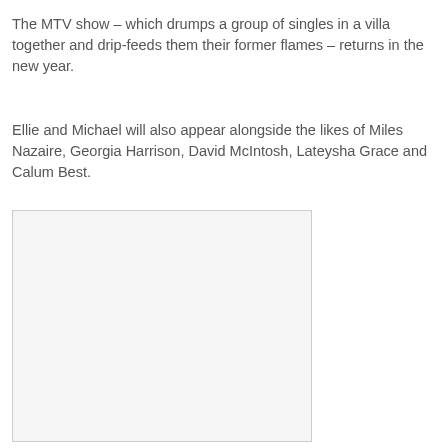The MTV show – which drumps a group of singles in a villa together and drip-feeds them their former flames – returns in the new year.
Ellie and Michael will also appear alongside the likes of Miles Nazaire, Georgia Harrison, David McIntosh, Lateysha Grace and Calum Best.
[Figure (photo): A light gray placeholder image box with a thin border, representing an embedded photo on the article page.]